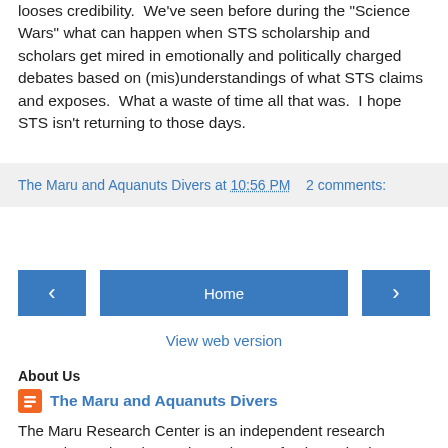looses credibility. We've seen before during the "Science Wars" what can happen when STS scholarship and scholars get mired in emotionally and politically charged debates based on (mis)understandings of what STS claims and exposes. What a waste of time all that was. I hope STS isn't returning to those days.
The Maru and Aquanuts Divers at 10:56 PM   2 comments:
[Figure (other): Navigation buttons: left arrow, Home, right arrow]
View web version
About Us
The Maru and Aquanuts Divers
The Maru Research Center is an independent research center located on the northern shores of Lake Malawi. We are passionate about lake research and Malawi. Aquanuts Divers is a PADI dive center at Kande Beach, Lake Malawi, the most biologically diverse lake on the planet...